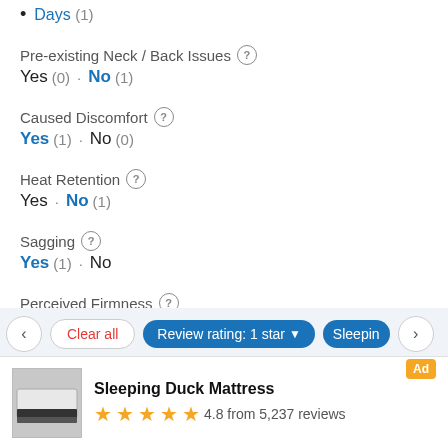Days (1)
Pre-existing Neck / Back Issues
Yes (0) · No (1)
Caused Discomfort
Yes (1) · No (0)
Heat Retention
Yes · No (1)
Sagging
Yes (1) · No
Perceived Firmness
Very Soft (1)
Clear all | Review rating: 1 star | Sleeping
Sleeping Duck Mattress Ad 4.8 from 5,237 reviews